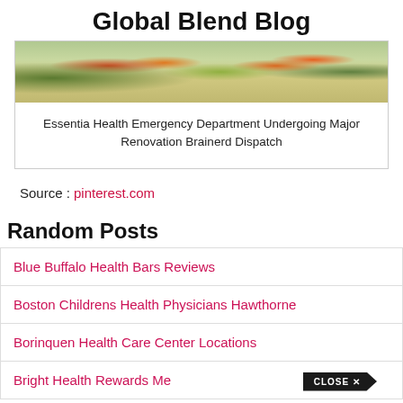Global Blend Blog
[Figure (photo): Outdoor garden/park scene with colorful plants and flowers]
Essentia Health Emergency Department Undergoing Major Renovation Brainerd Dispatch
Source : pinterest.com
Random Posts
Blue Buffalo Health Bars Reviews
Boston Childrens Health Physicians Hawthorne
Borinquen Health Care Center Locations
Bright Health Rewards Me...